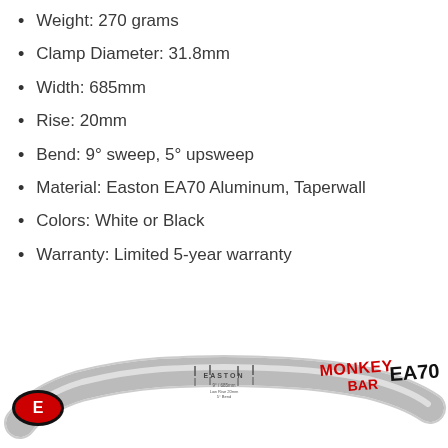Weight: 270 grams
Clamp Diameter: 31.8mm
Width: 685mm
Rise: 20mm
Bend: 9° sweep, 5° upsweep
Material: Easton EA70 Aluminum, Taperwall
Colors: White or Black
Warranty: Limited 5-year warranty
MSRP: $75
[Figure (photo): White Easton Monkey Bar EA70 aluminum bicycle handlebar with Easton logo on left end and MONKEY BAR EA70 text in red/black on right side]